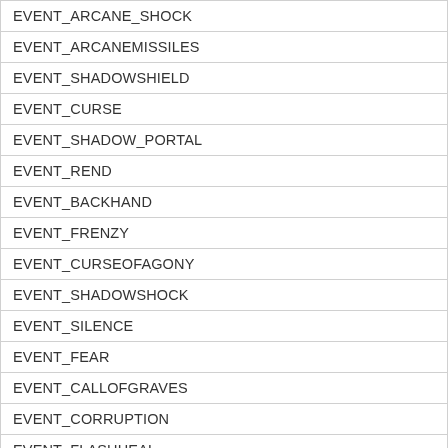| EVENT_ARCANE_SHOCK |
| EVENT_ARCANEMISSILES |
| EVENT_SHADOWSHIELD |
| EVENT_CURSE |
| EVENT_SHADOW_PORTAL |
| EVENT_REND |
| EVENT_BACKHAND |
| EVENT_FRENZY |
| EVENT_CURSEOFAGONY |
| EVENT_SHADOWSHOCK |
| EVENT_SILENCE |
| EVENT_FEAR |
| EVENT_CALLOFGRAVES |
| EVENT_CORRUPTION |
| EVENT_FLASHHEAL |
| EVENT_RENEW |
| EVENT_HEALINGTOUCH |